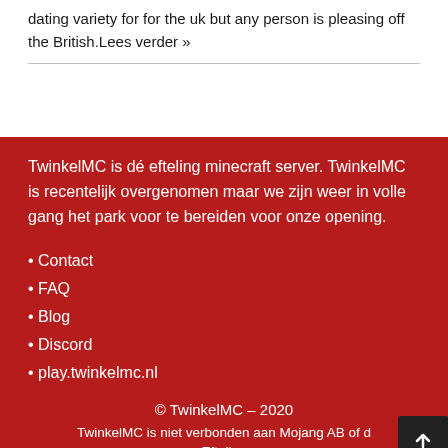dating variety for for the uk but any person is pleasing off the British.Lees verder »
TwinkelMC is dé efteling minecraft server. TwinkelMC is recentelijk overgenomen maar we zijn weer in volle gang het park voor te bereiden voor onze opening.
Contact
FAQ
Blog
Discord
play.twinkelmc.nl
© TwinkelMC – 2020
TwinkelMC is niet verbonden aan Mojang AB of de Efteling